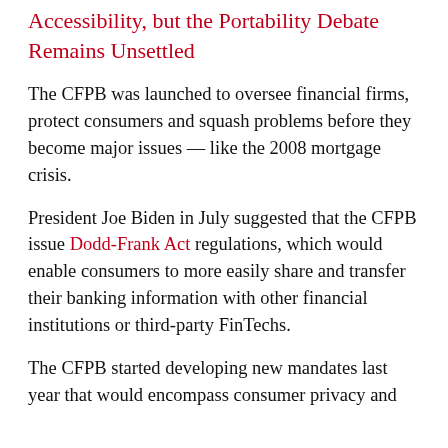Accessibility, but the Portability Debate Remains Unsettled
The CFPB was launched to oversee financial firms, protect consumers and squash problems before they become major issues — like the 2008 mortgage crisis.
President Joe Biden in July suggested that the CFPB issue Dodd-Frank Act regulations, which would enable consumers to more easily share and transfer their banking information with other financial institutions or third-party FinTechs.
The CFPB started developing new mandates last year that would encompass consumer privacy and